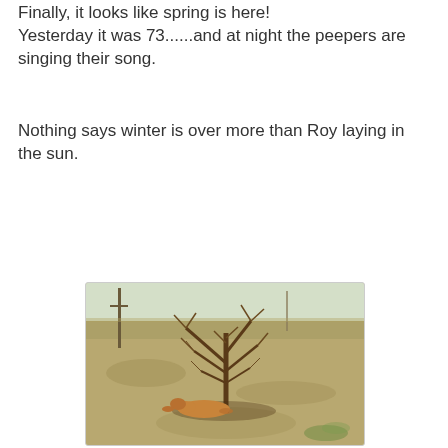Finally, it looks like spring is here!
Yesterday it was 73......and at night the peepers are singing their song.
Nothing says winter is over more than Roy laying in the sun.
[Figure (photo): A dog (Roy) lying on dry grass beneath a bare winter shrub/bush in a yard. The yard has sparse dry grass and the shrub has no leaves. A utility pole is visible in the background.]